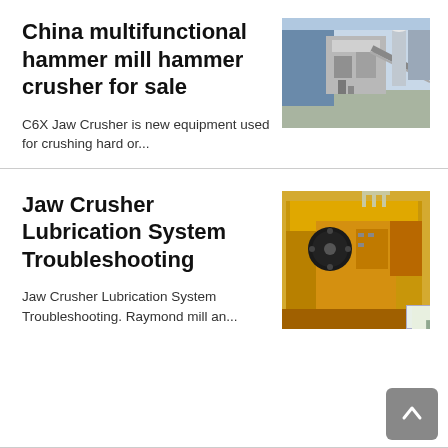China multifunctional hammer mill hammer crusher for sale
[Figure (photo): Industrial hammer mill crusher machine, grey/white industrial equipment with conveyor belts outdoors]
C6X Jaw Crusher is new equipment used for crushing hard or...
Jaw Crusher Lubrication System Troubleshooting
[Figure (photo): Yellow/orange jaw crusher machine, large industrial crushing equipment]
Jaw Crusher Lubrication System Troubleshooting. Raymond mill an...